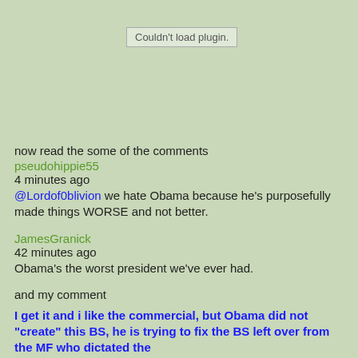[Figure (screenshot): Plugin failed to load placeholder box with text 'Couldn't load plugin.']
now read the some of the comments
pseudohippie55
4 minutes ago
@Lordof0blivion we hate Obama because he's purposefully made things WORSE and not better.
JamesGranick
42 minutes ago
Obama's the worst president we've ever had.
and my comment
I get it and i like the commercial, but Obama did not "create" this BS, he is trying to fix the BS left over from the MF who dictated the